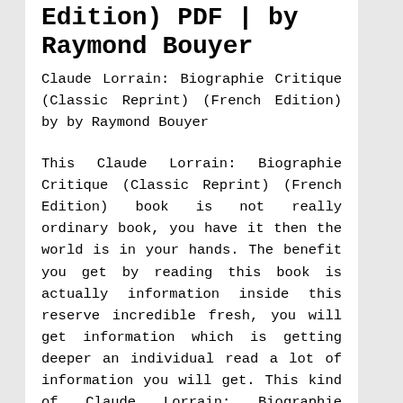Edition) PDF | by Raymond Bouyer
Claude Lorrain: Biographie Critique (Classic Reprint) (French Edition) by by Raymond Bouyer
This Claude Lorrain: Biographie Critique (Classic Reprint) (French Edition) book is not really ordinary book, you have it then the world is in your hands. The benefit you get by reading this book is actually information inside this reserve incredible fresh, you will get information which is getting deeper an individual read a lot of information you will get. This kind of Claude Lorrain: Biographie Critique (Classic Reprint) (French Edition) without we recognize teach the one who looking at it become critical in imagining and